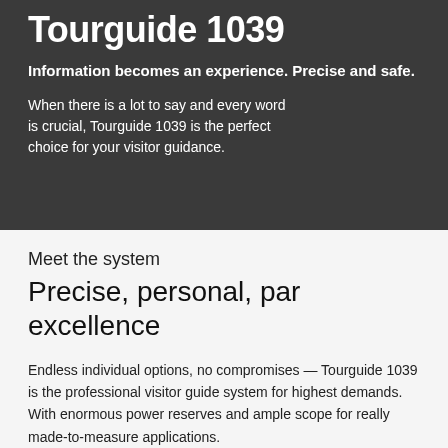Tourguide 1039
Information becomes an experience. Precise and safe.
When there is a lot to say and every word is crucial, Tourguide 1039 is the perfect choice for your visitor guidance.
Meet the system
Precise, personal, par excellence
Endless individual options, no compromises — Tourguide 1039 is the professional visitor guide system for highest demands. With enormous power reserves and ample scope for really made-to-measure applications.